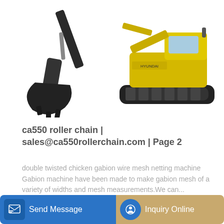[Figure (photo): Excavator bucket/arm close-up on white background (left)]
[Figure (photo): Yellow Hyundai crawler excavator on white background (right)]
ca550 roller chain | sales@ca550rollerchain.com | Page 2
double twisted chicken gabion wire mesh netting machine Gabion machine have been made to make gabion mesh of a variety of widths and mesh measurements.We can...
[Figure (other): Learn More button — blue rounded rectangle]
[Figure (photo): Blue Hyundai excavator arm/boom partial view at bottom of page]
Send Message | Inquiry Online